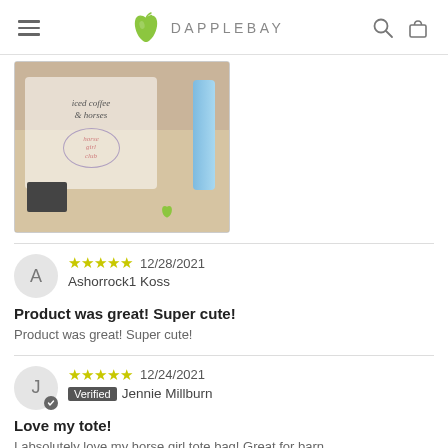DAPPLEBAY
[Figure (photo): Product photo showing horse-themed merchandise including a tote bag with 'iced coffee & horses' text, a blue tumbler, and a 'horse girl club' stamp, displayed on a table with a Dapplebay apple logo.]
5 stars  12/28/2021
Ashorrock1 Koss
Product was great! Super cute!
Product was great! Super cute!
5 stars  12/24/2021
Verified  Jennie Millburn
Love my tote!
I absolutely love my horse girl tote bag! Great for barn